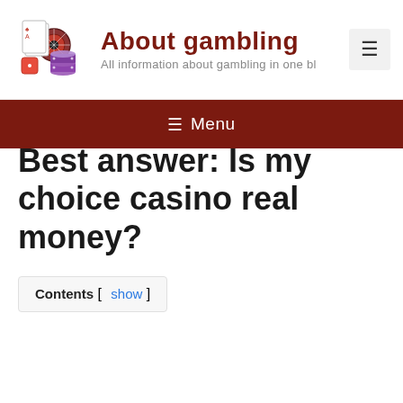[Figure (logo): About gambling website logo with playing cards, roulette wheel, dice, and poker chips]
About gambling
All information about gambling in one bl
≡ Menu
Best answer: Is my choice casino real money?
Contents [ show ]